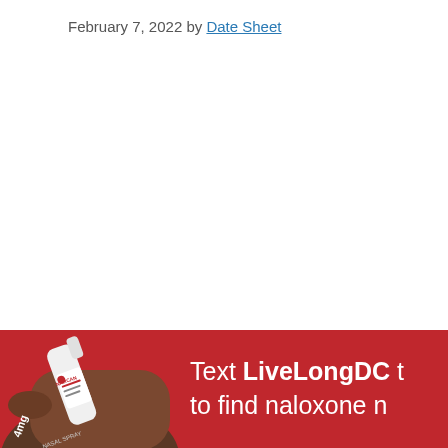February 7, 2022 by Date Sheet
[Figure (photo): Red banner advertisement showing a hand holding a Narcan 4mg Nasal Spray with text 'Text LiveLongDC to find naloxone n...' on a red background]